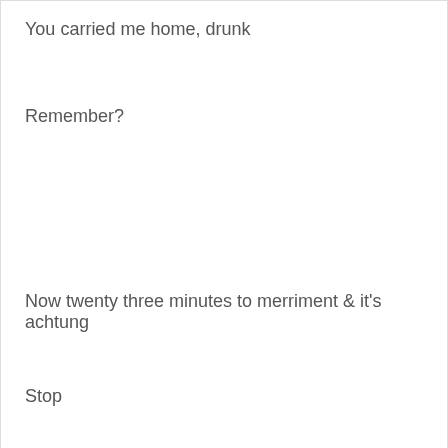You carried me home, drunk
Remember?
Now twenty three minutes to merriment & it's achtung
Stop
You & I are marionettes
You & I are marionettes
Stop
Privacy & Cookies: This site uses cookies. By continuing to use this website, you agree to their use.
To find out more, including how to control cookies, see here: Cookie Policy
Close and accept